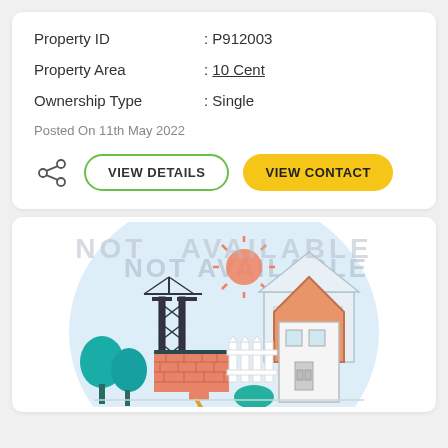| Property ID | : P912003 |
| Property Area | : 10 Cent |
| Ownership Type | : Single |
Posted On 11th May 2022
[Figure (illustration): Share icon and two buttons: VIEW DETAILS (green border) and VIEW CONTACT (yellow background)]
[Figure (illustration): Property listing illustration with house, trees, construction tower, bricks, sun. Watermark text 'NOT AVAILABLE' overlaid diagonally on a light blue circular background.]